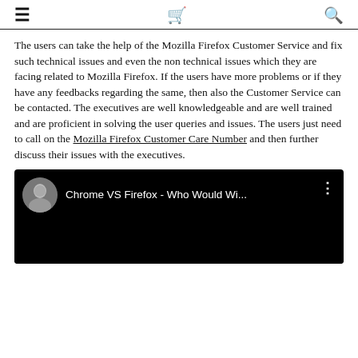≡  🛒  🔍
The users can take the help of the Mozilla Firefox Customer Service and fix such technical issues and even the non technical issues which they are facing related to Mozilla Firefox. If the users have more problems or if they have any feedbacks regarding the same, then also the Customer Service can be contacted. The executives are well knowledgeable and are well trained and are proficient in solving the user queries and issues. The users just need to call on the Mozilla Firefox Customer Care Number and then further discuss their issues with the executives.
[Figure (screenshot): YouTube video thumbnail showing 'Chrome VS Firefox - Who Would Wi...' with a circular avatar image of a person on the left and a vertical dots menu icon on the right, on a black background.]